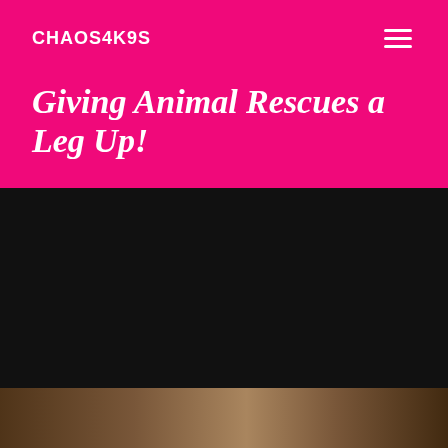CHAOS4K9S
Giving Animal Rescues a Leg Up!
[Figure (photo): Dark background with a partially visible animal rescue scene at the bottom of the image.]